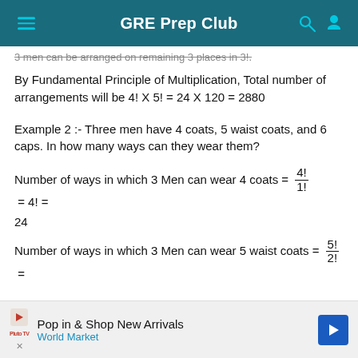GRE Prep Club
3 men can be arranged on remaining 3 places in 3!.
By Fundamental Principle of Multiplication, Total number of arrangements will be 4! X 5! = 24 X 120 = 2880
Example 2 :- Three men have 4 coats, 5 waist coats, and 6 caps. In how many ways can they wear them?